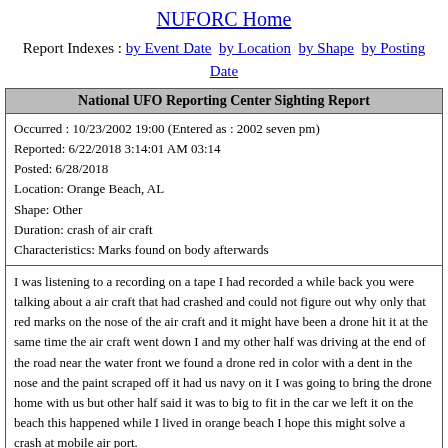NUFORC Home
Report Indexes : by Event Date  by Location  by Shape  by Posting Date
| National UFO Reporting Center Sighting Report |
| --- |
| Occurred : 10/23/2002 19:00 (Entered as : 2002 seven pm)
Reported: 6/22/2018 3:14:01 AM 03:14
Posted: 6/28/2018
Location: Orange Beach, AL
Shape: Other
Duration: crash of air craft
Characteristics: Marks found on body afterwards |
| I was listening to a recording on a tape I had recorded a while back you were talking about a air craft that had crashed and could not figure out why only that red marks on the nose of the air craft and it might have been a drone hit it at the same time the air craft went down I and my other half was driving at the end of the road near the water front we found a drone red in color with a dent in the nose and the paint scraped off it had us navy on it I was going to bring the drone home with us but other half said it was to big to fit in the car we left it on the beach this happened while I lived in orange beach I hope this might solve a crash at mobile air port. |